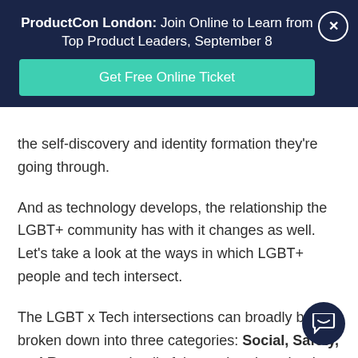ProductCon London: Join Online to Learn from Top Product Leaders, September 8
Get Free Online Ticket
the self-discovery and identity formation they're going through.
And as technology develops, the relationship the LGBT+ community has with it changes as well. Let's take a look at the ways in which LGBT+ people and tech intersect.
The LGBT x Tech intersections can broadly be broken down into three categories: Social, Safety, and Resources. In all of these, there's technology that's been designed specifically for LGBT+ people, and technology that was designed for everyone that LGBT+ people made their own.